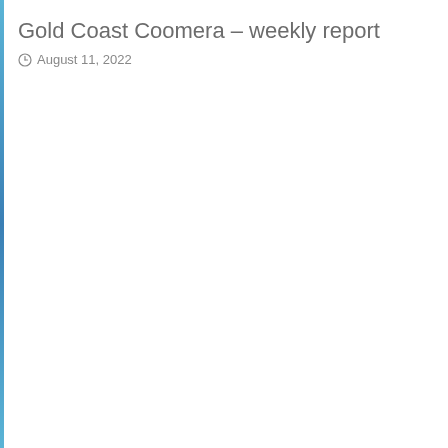Gold Coast Coomera – weekly report
August 11, 2022